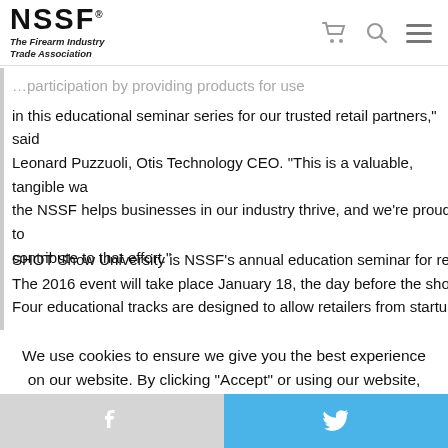NSSF The Firearm Industry Trade Association
in this educational seminar series for our trusted retail partners," said Leonard Puzzuoli, Otis Technology CEO. “This is a valuable, tangible way the NSSF helps businesses in our industry thrive, and we’re proud to contribute to that effort.”
SHOT Show University is NSSF’s annual education seminar for retailers. The 2016 event will take place January 18, the day before the show opens. Four educational tracks are designed to allow retailers from startups to
We use cookies to ensure we give you the best experience on our website. By clicking "Accept" or using our website, you consent to the use of cookies unless you have disabled them.
Facebook | Twitter social share bar